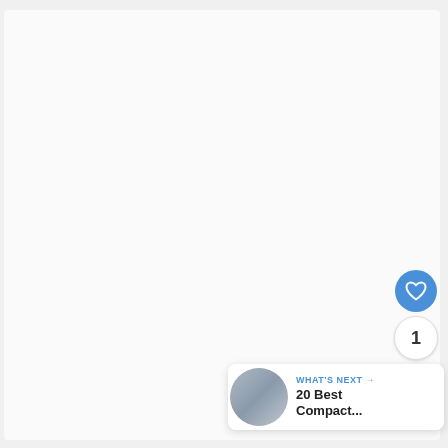[Figure (screenshot): A mostly blank/white content area representing a webpage screenshot with UI overlay elements including a like button (heart icon in blue circle), a count badge showing '1', a share button, and a 'What's Next' recommendation panel showing '20 Best Compact...' with a thumbnail image.]